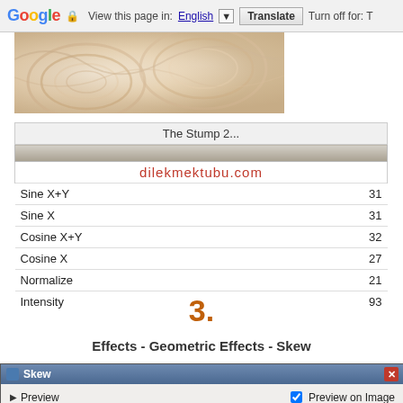Google | View this page in: English | Translate | Turn off for: T
[Figure (photo): Marble or stone texture image with cream and brown swirling patterns]
|  |  |
| --- | --- |
| The Stump 2... |  |
| dilekmektubu.com |  |
| Sine X+Y | 31 |
| Sine X | 31 |
| Cosine X+Y | 32 |
| Cosine X | 27 |
| Normalize | 21 |
| Intensity | 93 |
3.
Effects - Geometric Effects - Skew
[Figure (screenshot): Skew dialog window with Preview and Preview on Image options]